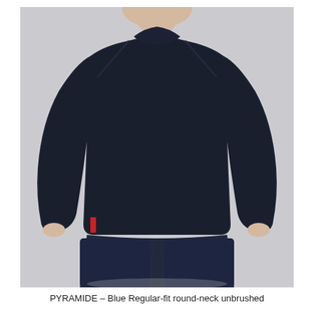[Figure (photo): A man wearing a navy blue regular-fit round-neck unbrushed fleece sweatshirt. The sweater has raglan-style seams visible at the shoulders and a small red detail at the left side hem. The man is wearing matching navy trousers. The background is light grey.]
PYRAMIDE – Blue Regular-fit round-neck unbrushed